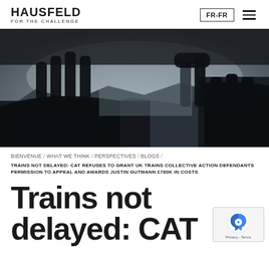HAUSFELD FOR THE CHALLENGE
[Figure (photo): Black and white photo of two hands forming a rectangular frame shape against a mountainous background sky]
BIENVENUE / WHAT WE THINK / PERSPECTIVES / BLOGS /
TRAINS NOT DELAYED: CAT REFUSES TO GRANT UK TRAINS COLLECTIVE ACTION DEFENDANTS PERMISSION TO APPEAL AND AWARDS JUSTIN GUTMANN £780K IN COSTS
Trains not delayed: CAT